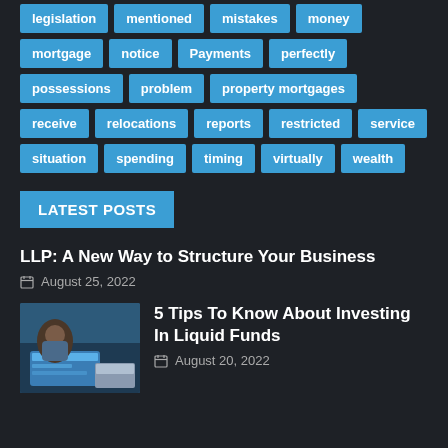legislation
mentioned
mistakes
money
mortgage
notice
Payments
perfectly
possessions
problem
property mortgages
receive
relocations
reports
restricted
service
situation
spending
timing
virtually
wealth
LATEST POSTS
LLP: A New Way to Structure Your Business
August 25, 2022
[Figure (photo): Person typing on laptop at desk with documents]
5 Tips To Know About Investing In Liquid Funds
August 20, 2022